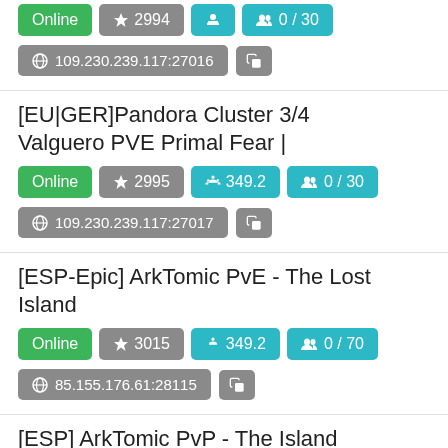Online ★ 2994 ⚙ 349.2 👥 0 / 30 | 109.230.239.117:27016
[EU|GER]Pandora Cluster 3/4 Valguero PVE Primal Fear | Online ★ 2995 ⚙ 349.2 👥 0 / 30 | 109.230.239.117:27017
[ESP-Epic] ArkTomic PvE - The Lost Island Online ★ 3015 ⚙ 349.2 👥 0 / 70 | 85.155.176.61:28115
[ESP] ArkTomic PvP - The Island